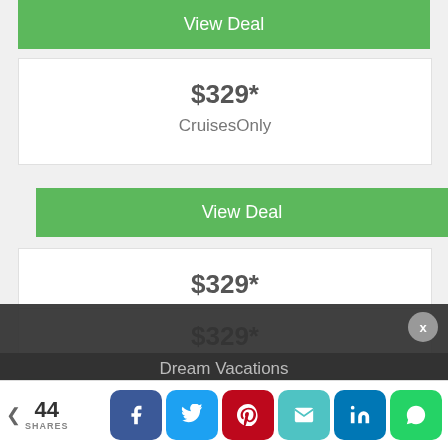View Deal
$329*
CruisesOnly
View Deal
$329*
Cheap Cruises
View Deal
$329*
Dream Vacations
< 44 SHARES [Facebook] [Twitter] [Pinterest] [Email] [LinkedIn] [WhatsApp]